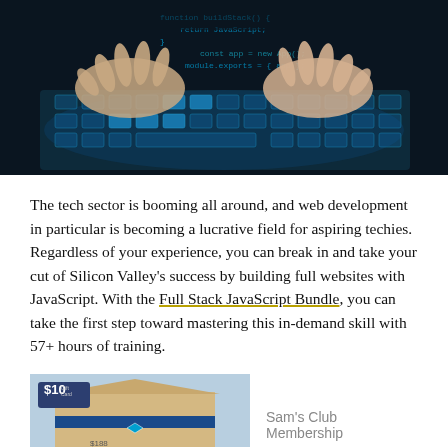[Figure (photo): Close-up photo of two hands typing on a glowing blue illuminated keyboard with code visible in background]
The tech sector is booming all around, and web development in particular is becoming a lucrative field for aspiring techies. Regardless of your experience, you can break in and take your cut of Silicon Valley's success by building full websites with JavaScript. With the Full Stack JavaScript Bundle, you can take the first step toward mastering this in-demand skill with 57+ hours of training.
[Figure (photo): Advertisement image showing a Sam's Club store exterior with a $10 Gift Card badge overlay. Text reads Sam's Club Membership]